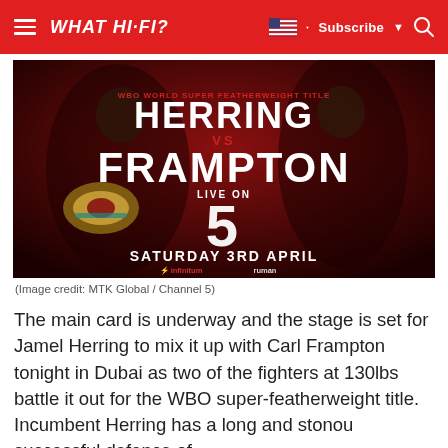WHAT HI-FI?
[Figure (photo): Boxing promotional poster for WBO World Super Featherweight Title fight: Herring vs Frampton, Live on Channel 5, Saturday 3rd April. Sponsors: infinitum, ruman. Two fighters shown against dark red background.]
(Image credit: MTK Global / Channel 5)
The main card is underway and the stage is set for Jamel Herring to mix it up with Carl Frampton tonight in Dubai as two of the fighters at 130lbs battle it out for the WBO super-featherweight title. Incumbent Herring has a long and stonou successful defence of